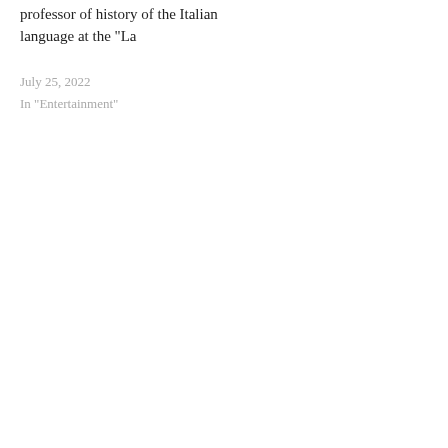professor of history of the Italian language at the "La
July 25, 2022
In "Entertainment"